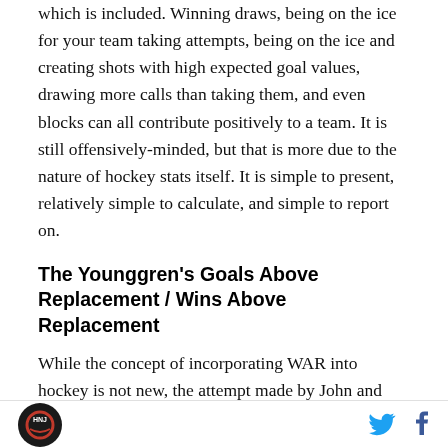which is included. Winning draws, being on the ice for your team taking attempts, being on the ice and creating shots with high expected goal values, drawing more calls than taking them, and even blocks can all contribute positively to a team. It is still offensively-minded, but that is more due to the nature of hockey stats itself. It is simple to present, relatively simple to calculate, and simple to report on.
The Younggren's Goals Above Replacement / Wins Above Replacement
While the concept of incorporating WAR into hockey is not new, the attempt made by John and Luke Younggren has stuck around. In 2018, they presented their model at the Rochester Institute of Technology
HNJ logo, Twitter icon, Facebook icon